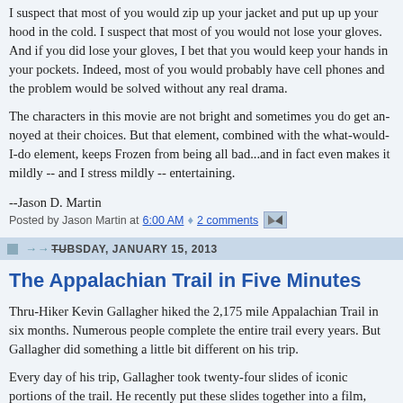I suspect that most of you would zip up your jacket and put up up your hood in the cold. I suspect that most of you would not lose your gloves. And if you did lose your gloves, I bet that you would keep your hands in your pockets. Indeed, most of you would probably have cell phones and the problem would be solved without any real drama.
The characters in this movie are not bright and sometimes you do get annoyed at their choices. But that element, combined with the what-would-I-do element, keeps Frozen from being all bad...and in fact even makes it mildly -- and I stress mildly -- entertaining.
--Jason D. Martin
Posted by Jason Martin at 6:00 AM  2 comments
TUESDAY, JANUARY 15, 2013
The Appalachian Trail in Five Minutes
Thru-Hiker Kevin Gallagher hiked the 2,175 mile Appalachian Trail in six months. Numerous people complete the entire trail every years. But Gallagher did something a little bit different on his trip.
Every day of his trip, Gallagher took twenty-four slides of iconic portions of the trail. He recently put these slides together into a film, which condenses the entire journey into a single five minute segment. He titled the film, "The Green Tunnel."
Following is the product of his adventure: